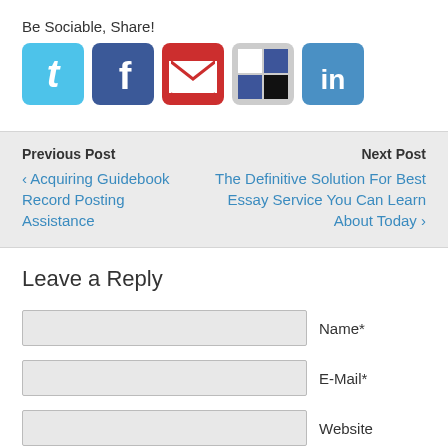Be Sociable, Share!
[Figure (illustration): Row of social media share icons: Twitter (blue bird), Facebook (blue f), Gmail (red envelope), Delicious (checkered), LinkedIn (blue in)]
Previous Post
‹ Acquiring Guidebook Record Posting Assistance
Next Post
The Definitive Solution For Best Essay Service You Can Learn About Today ›
Leave a Reply
Name*
E-Mail*
Website